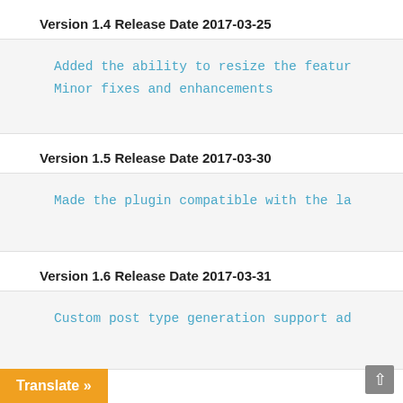Version 1.4 Release Date 2017-03-25
Added the ability to resize the feature
Minor fixes and enhancements
Version 1.5 Release Date 2017-03-30
Made the plugin compatible with the la
Version 1.6 Release Date 2017-03-31
Custom post type generation support add